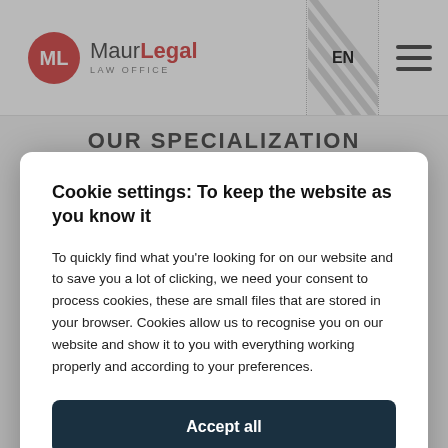MaurLegal Law Office — EN — Menu
OUR SPECIALIZATION
Cookie settings: To keep the website as you know it
To quickly find what you're looking for on our website and to save you a lot of clicking, we need your consent to process cookies, these are small files that are stored in your browser. Cookies allow us to recognise you on our website and show it to you with everything working properly and according to your preferences.
Accept all
Settings